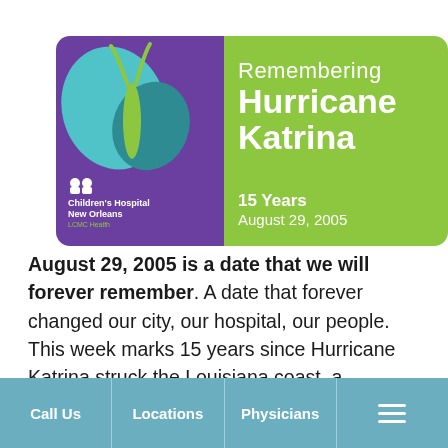[Figure (illustration): Remembering Hurricane Katrina promotional card from Children's Hospital New Orleans (LCMC Health). Left side: purple background with teal and green butterfly graphic. Right side: lime green background with white text reading 'Remembering Hurricane Katrina', '15 Years', 'August 29, 2005'.]
August 29, 2005 is a date that we will forever remember. A date that forever changed our city, our hospital, our people. This week marks 15 years since Hurricane Katrina struck the Louisiana coast, a devastating Category 3 storm that left 80 percent
Call Us | Locations | Physicians | [menu]